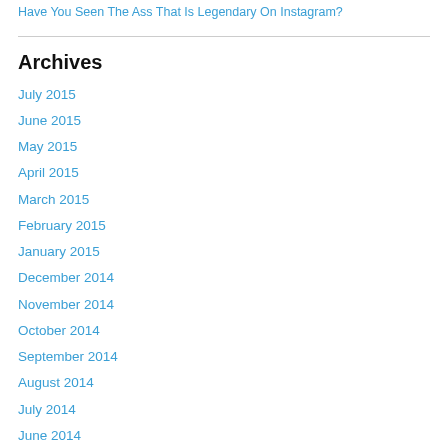Have You Seen The Ass That Is Legendary On Instagram?
Archives
July 2015
June 2015
May 2015
April 2015
March 2015
February 2015
January 2015
December 2014
November 2014
October 2014
September 2014
August 2014
July 2014
June 2014
May 2014
April 2014